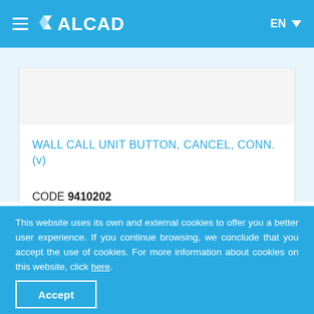WALCAD EN
[Figure (screenshot): White product card with empty image area at top]
WALL CALL UNIT BUTTON, CANCEL, CONN. (v)
CODE 9410202
This website uses its own and external cookies to offer you a better user experience. If you continue browsing, we conclude that you accept the use of cookies. For more information about cookies on this website, click here.
Accept